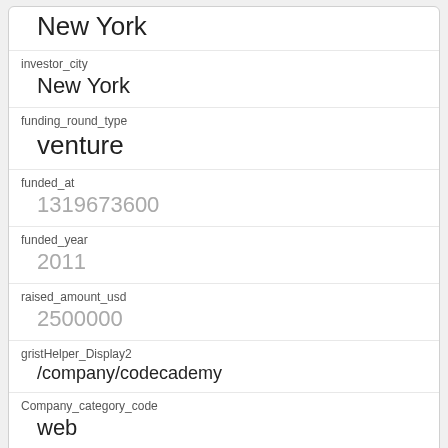| Field | Value |
| --- | --- |
| investor_city | New York |
| funding_round_type | venture |
| funded_at | 1319673600 |
| funded_year | 2011 |
| raised_amount_usd | 2500000 |
| gristHelper_Display2 | /company/codecademy |
| Company_category_code | web |
| Investor | Bowery Capital
https://www.crunchbase.com/financial-organization/bowery-capital |